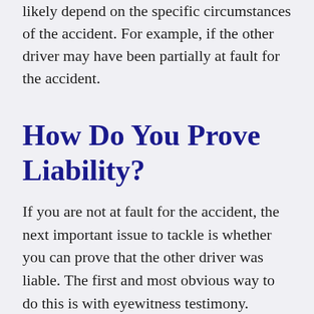likely depend on the specific circumstances of the accident. For example, if the other driver may have been partially at fault for the accident.
How Do You Prove Liability?
If you are not at fault for the accident, the next important issue to tackle is whether you can prove that the other driver was liable. The first and most obvious way to do this is with eyewitness testimony. Eyewitnesses